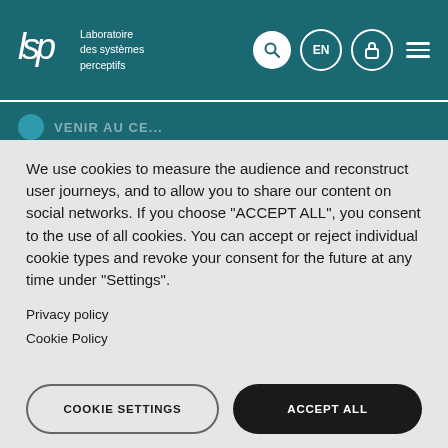[Figure (logo): LSP logo with text 'Laboratoire des systèmes perceptifs' on teal header background]
We use cookies to measure the audience and reconstruct user journeys, and to allow you to share our content on social networks. If you choose "ACCEPT ALL", you consent to the use of all cookies. You can accept or reject individual cookie types and revoke your consent for the future at any time under "Settings".
Privacy policy
Cookie Policy
COOKIE SETTINGS
ACCEPT ALL